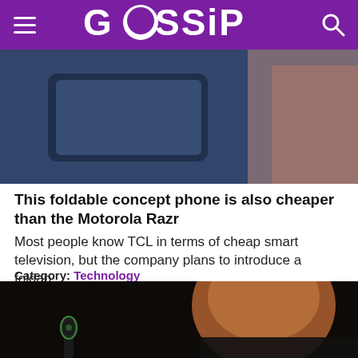GOSSIP
[Figure (photo): A person holding a foldable smartphone/tablet device, upper portion cropped]
This foldable concept phone is also cheaper than the Motorola Razr
Most people know TCL in terms of cheap smart television, but the company plans to introduce a foldab...
Category: Technology
[Figure (photo): A man (appears to be a public figure) in dark background, partially visible, with a microphone in the lower left]